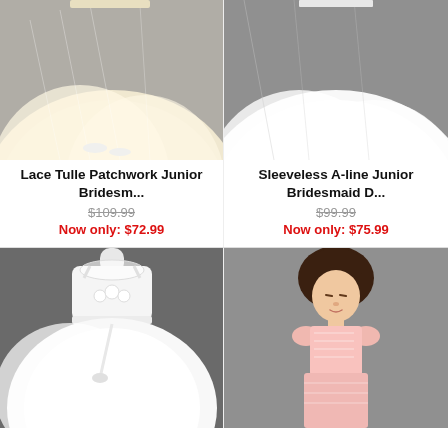[Figure (photo): Flower girl / junior bridesmaid in cream/champagne lace tulle ball gown dress, lower body shown]
[Figure (photo): Sleeveless A-line junior bridesmaid dress in white tulle, lower body shown on mannequin or model]
Lace Tulle Patchwork Junior Bridesm...
$109.99
Now only: $72.99
Sleeveless A-line Junior Bridesmaid D...
$99.99
Now only: $75.99
[Figure (photo): White flower girl dress on mannequin with floral applique bodice and full tulle skirt]
[Figure (photo): Young girl wearing pink lace cap-sleeve junior bridesmaid dress, grey background]